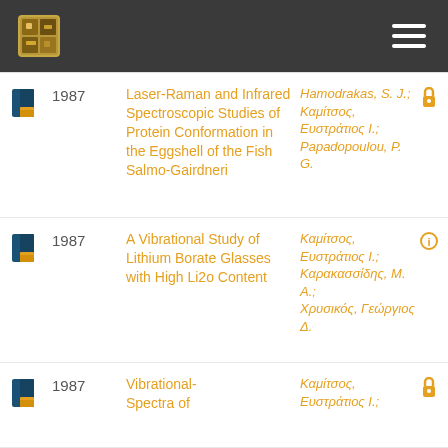Header bar with logo and navigation menu
1987 | Laser-Raman and Infrared Spectroscopic Studies of Protein Conformation in the Eggshell of the Fish Salmo-Gairdneri | Hamodrakas, S. J.; Καμίτσος, Ευστράτιος Ι.; Papadopoulou, P. G.
1987 | A Vibrational Study of Lithium Borate Glasses with High Li2o Content | Καμίτσος, Ευστράτιος Ι.; Καρακασσίδης, Μ. Α.; Χρυσικός, Γεώργιος Δ.
1987 | Vibrational- Spectra of | Καμίτσος, Ευστράτιος Ι.;